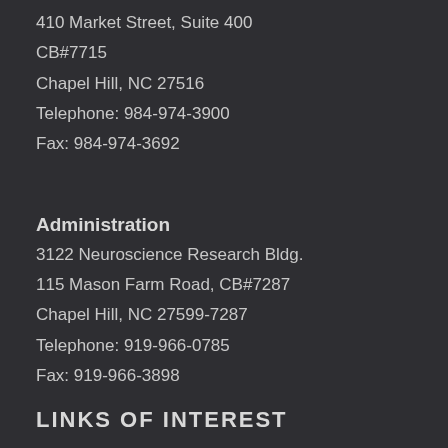410 Market Street, Suite 400
CB#7715
Chapel Hill, NC 27516
Telephone: 984-974-3900
Fax: 984-974-3692
Administration
3122 Neuroscience Research Bldg.
115 Mason Farm Road, CB#7287
Chapel Hill, NC 27599-7287
Telephone: 919-966-0785
Fax: 919-966-3898
LINKS OF INTEREST